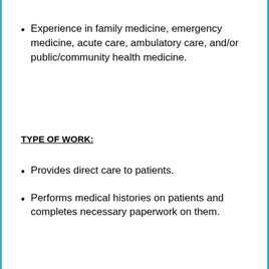Experience in family medicine, emergency medicine, acute care, ambulatory care, and/or public/community health medicine.
TYPE OF WORK:
Provides direct care to patients.
Performs medical histories on patients and completes necessary paperwork on them.